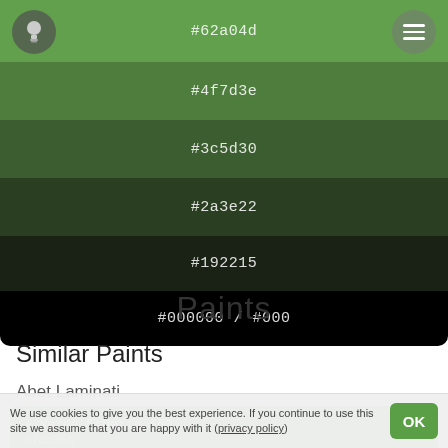[Figure (infographic): Color swatch panel showing hex color codes from #62a04d (medium green) down to #000000 (black) in 6 steps, with a lightbulb icon on the left and a hamburger menu icon on the right in the top row]
Paints
Similar Paints
Abet Laminati
★ Verde Erbetta 460
#7cc35b
We use cookies to give you the best experience. If you continue to use this site we assume that you are happy with it (privacy policy)